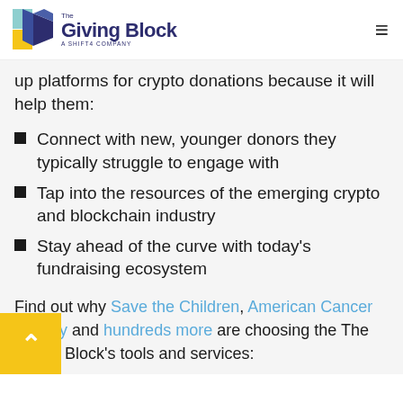The Giving Block — A Shift4 Company
up platforms for crypto donations because it will help them:
Connect with new, younger donors they typically struggle to engage with
Tap into the resources of the emerging crypto and blockchain industry
Stay ahead of the curve with today's fundraising ecosystem
Find out why Save the Children, American Cancer Society and hundreds more are choosing the The Giving Block's tools and services: